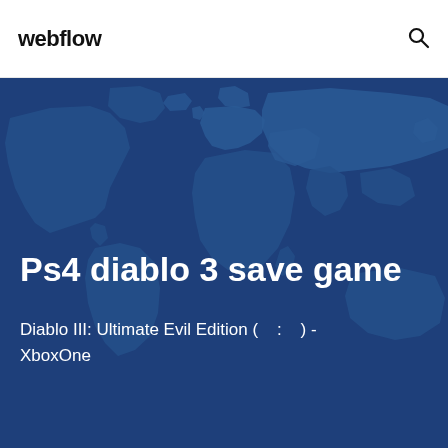webflow
[Figure (illustration): Dark blue world map background illustration used as hero section background]
Ps4 diablo 3 save game
Diablo III: Ultimate Evil Edition (    :    ) - XboxOne